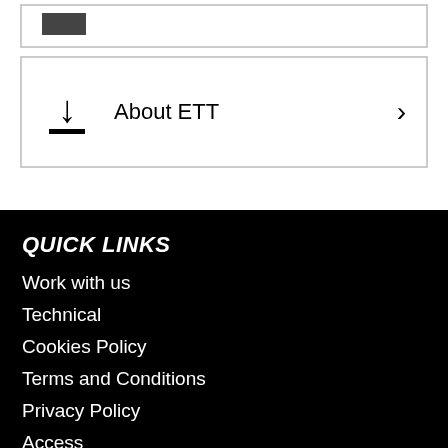[Figure (screenshot): Partial top card with download icon partially visible]
About ETT →
QUICK LINKS
Work with us
Technical
Cookies Policy
Terms and Conditions
Privacy Policy
Access
CONTACT US